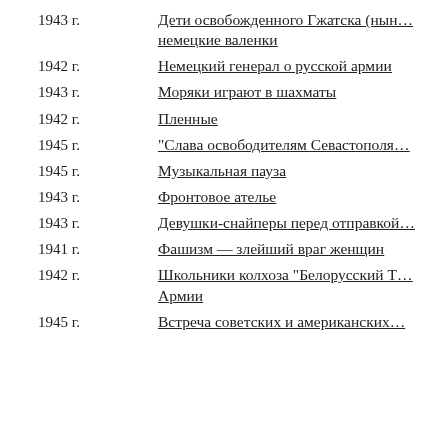1943 г.  Дети освобожденного Гжатска (нын... немецкие валенки
1942 г.  Немецкий генерал о русской армии
1943 г.  Моряки играют в шахматы
1942 г.  Пленные
1945 г.  "Слава освободителям Севастополя...
1945 г.  Музыкальная пауза
1943 г.  Фронтовое ателье
1943 г.  Девушки-снайперы перед отправкой...
1941 г.  Фашизм — злейший враг женщин
1942 г.  Школьники колхоза "Белорусский Т... Армии
1945 г.  Встреча советских и американских...